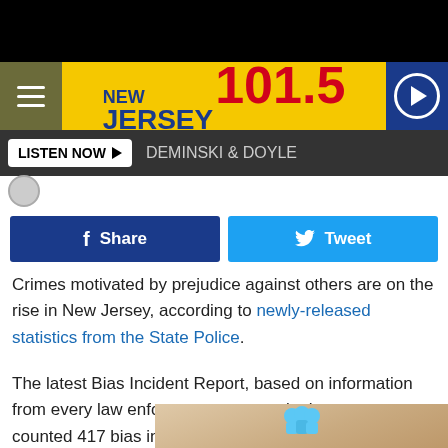[Figure (screenshot): Black top bar]
NEW JERSEY 101.5
LISTEN NOW | DEMINSKI & DOYLE
f Share   Tweet
Crimes motivated by prejudice against others are on the rise in New Jersey, according to newly-released statistics from the State Police.
The latest Bias Incident Report, based on information from every law enforcement agency in the state, counted 417 bias incident offenses in 2016 — a 14 percent jump from the year prior.
[Figure (screenshot): Hold and Move advertisement overlay at bottom]